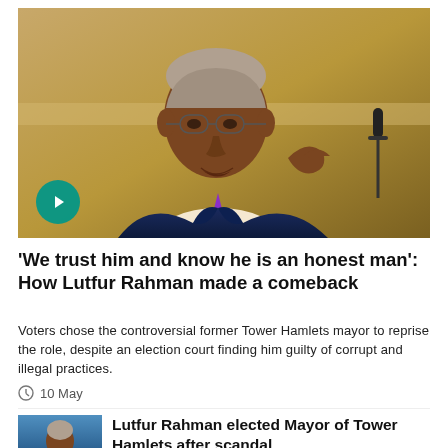[Figure (photo): Man in suit with purple tie speaking at a podium, gesturing with thumb up, grey hair, glasses, warm brown background. Play button overlay in bottom left corner.]
'We trust him and know he is an honest man': How Lutfur Rahman made a comeback
Voters chose the controversial former Tower Hamlets mayor to reprise the role, despite an election court finding him guilty of corrupt and illegal practices.
10 May
[Figure (photo): Thumbnail photo of Lutfur Rahman, with blue background.]
Lutfur Rahman elected Mayor of Tower Hamlets after scandal